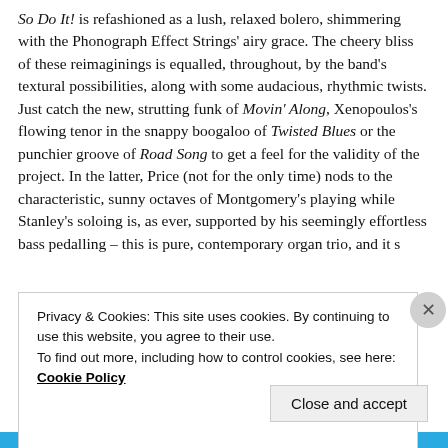So Do It! is refashioned as a lush, relaxed bolero, shimmering with the Phonograph Effect Strings' airy grace. The cheery bliss of these reimaginings is equalled, throughout, by the band's textural possibilities, along with some audacious, rhythmic twists. Just catch the new, strutting funk of Movin' Along, Xenopoulos's flowing tenor in the snappy boogaloo of Twisted Blues or the punchier groove of Road Song to get a feel for the validity of the project. In the latter, Price (not for the only time) nods to the characteristic, sunny octaves of Montgomery's playing while Stanley's soloing is, as ever, supported by his seemingly effortless bass pedalling – this is pure, contemporary organ trio, and it s
Privacy & Cookies: This site uses cookies. By continuing to use this website, you agree to their use.
To find out more, including how to control cookies, see here: Cookie Policy
Close and accept